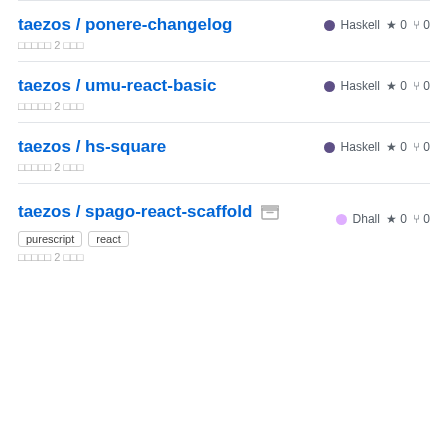taezos / ponere-changelog — Haskell ★ 0 ⑂ 0
taezos / umu-react-basic — Haskell ★ 0 ⑂ 0
taezos / hs-square — Haskell ★ 0 ⑂ 0
taezos / spago-react-scaffold [archived] — Dhall ★ 0 ⑂ 0, tags: purescript, react